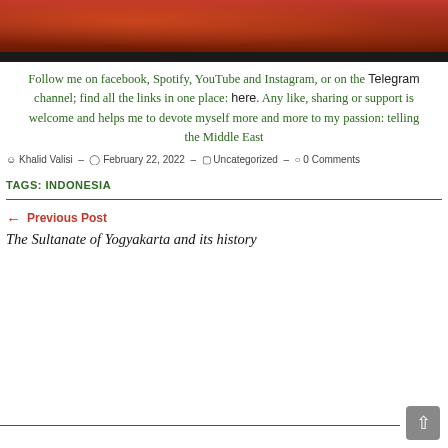[Figure (photo): Decorative photo banner of performers in colorful traditional dress, dark toned background]
Follow me on facebook, Spotify, YouTube and Instagram, or on the Telegram channel; find all the links in one place: here. Any like, sharing or support is welcome and helps me to devote myself more and more to my passion: telling the Middle East
Khalid Valisi  –  February 22, 2022  –  Uncategorized  –  0 Comments
TAGS: INDONESIA
← Previous Post
The Sultanate of Yogyakarta and its history